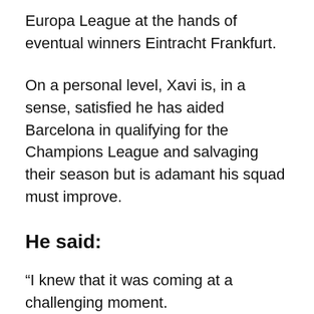Europa League at the hands of eventual winners Eintracht Frankfurt.
On a personal level, Xavi is, in a sense, satisfied he has aided Barcelona in qualifying for the Champions League and salvaging their season but is adamant his squad must improve.
He said:
“I knew that it was coming at a challenging moment.
“We have improved, but not enough. We have played brilliant games, but we have to be more reliable. I am here to add value, and now we have to work for next year. We have to be positive.
“We’ve saved a season that could have been disastrous. I’m